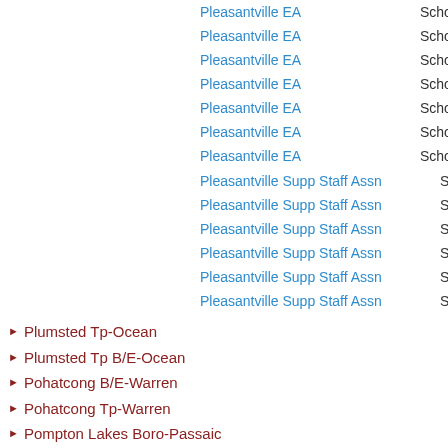Pleasantville EA — School
Pleasantville EA — School
Pleasantville EA — School
Pleasantville EA — School
Pleasantville EA — School
Pleasantville EA — School
Pleasantville EA — School
Pleasantville Supp Staff Assn — School
Pleasantville Supp Staff Assn — School
Pleasantville Supp Staff Assn — School
Pleasantville Supp Staff Assn — School
Pleasantville Supp Staff Assn — School
Pleasantville Supp Staff Assn — School
Plumsted Tp-Ocean
Plumsted Tp B/E-Ocean
Pohatcong B/E-Warren
Pohatcong Tp-Warren
Pompton Lakes Boro-Passaic
Pompton Lakes B/E-Passaic
Pompton Lakes MUA-Passaic